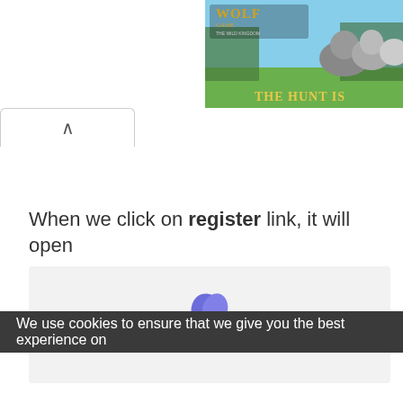[Figure (screenshot): Wolf Game - The Wild Kingdom advertisement banner showing wolves in a meadow with text 'THE HUNT IS' visible]
[Figure (screenshot): Browser tab collapse arrow button (chevron up) on a white tab element]
When we click on register link, it will open
[Figure (screenshot): Gray screenshot box area with a blue cookie/leaf icon visible at the top]
We use cookies to ensure that we give you the best experience on